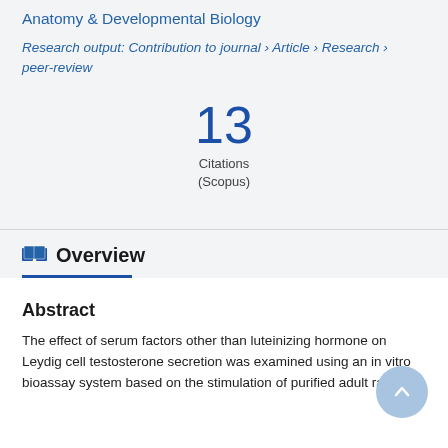Anatomy & Developmental Biology
Research output: Contribution to journal › Article › Research › peer-review
13
Citations
(Scopus)
Overview
Abstract
The effect of serum factors other than luteinizing hormone on Leydig cell testosterone secretion was examined using an in vitro bioassay system based on the stimulation of purified adult rat